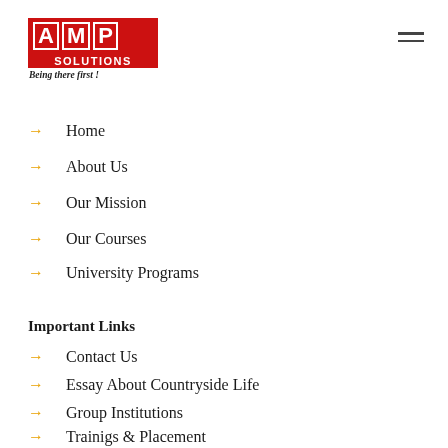[Figure (logo): AMP Solutions logo with red background, white letters A, M, P in bordered boxes, red SOLUTIONS text below, italic tagline 'Being there first!']
Home
About Us
Our Mission
Our Courses
University Programs
Important Links
Contact Us
Essay About Countryside Life
Group Institutions
Trainigs & Placement
Gallery